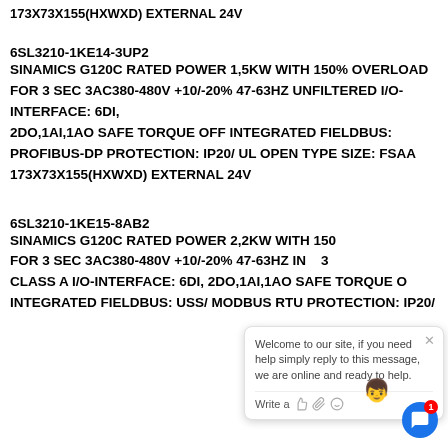173X73X155(HXWXD) EXTERNAL 24V
6SL3210-1KE14-3UP2
SINAMICS G120C RATED POWER 1,5KW WITH 150% OVERLOAD FOR 3 SEC 3AC380-480V +10/-20% 47-63HZ UNFILTERED I/O-INTERFACE: 6DI, 2DO,1AI,1AO SAFE TORQUE OFF INTEGRATED FIELDBUS: PROFIBUS-DP PROTECTION: IP20/ UL OPEN TYPE SIZE: FSAA 173X73X155(HXWXD) EXTERNAL 24V
6SL3210-1KE15-8AB2
SINAMICS G120C RATED POWER 2,2KW WITH 150% OVERLOAD FOR 3 SEC 3AC380-480V +10/-20% 47-63HZ IN CLASS A I/O-INTERFACE: 6DI, 2DO,1AI,1AO SAFE TORQUE OFF INTEGRATED FIELDBUS: USS/ MODBUS RTU PROTECTION: IP20/